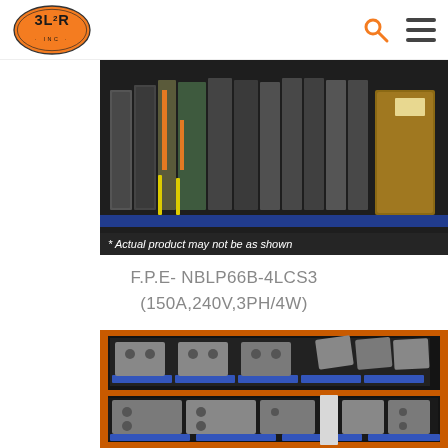[Figure (logo): 3L2R Inc. orange oval logo with stylized text]
[Figure (photo): Warehouse shelf with industrial electrical components/modules standing vertically, grey and black units with yellow markers]
* Actual product may not be as shown
F.P.E- NBLP66B-4LCS3 (150A,240V,3PH/4W)
[Figure (photo): Warehouse shelf with industrial electrical panel components, grey rectangular modules stored on blue-edged orange metal shelving]